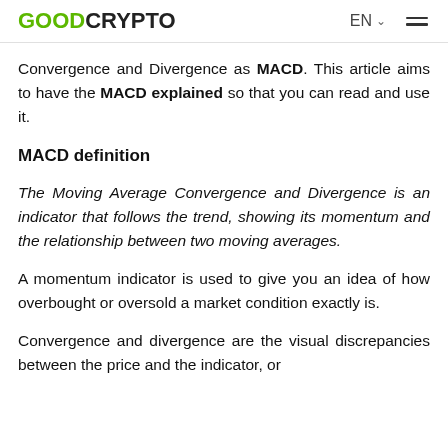GOODCRYPTO EN ☰
Convergence and Divergence as MACD. This article aims to have the MACD explained so that you can read and use it.
MACD definition
The Moving Average Convergence and Divergence is an indicator that follows the trend, showing its momentum and the relationship between two moving averages.
A momentum indicator is used to give you an idea of how overbought or oversold a market condition exactly is.
Convergence and divergence are the visual discrepancies between the price and the indicator, or